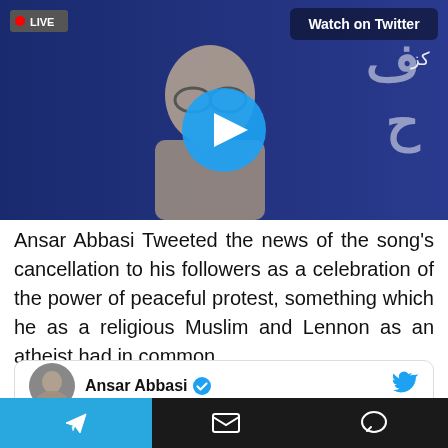[Figure (screenshot): Video thumbnail showing a man in a TV studio with LIVE badge, 'Watch on Twitter' label, Urdu text overlay, and a play button in the center. Blue background with Arabic/Urdu script.]
Ansar Abbasi Tweeted the news of the song's cancellation to his followers as a celebration of the power of peaceful protest, something which he as a religious Muslim and Lennon as an atheist had in common.
[Figure (screenshot): Twitter/X embed card showing Ansar Abbasi with verified checkmark and Twitter bird icon]
We use cookies to ensure that we give you the best experience on our website. If you continue to use this site we will assume that you are happy with it.